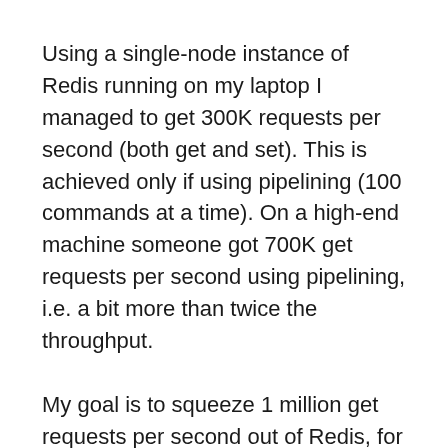Using a single-node instance of Redis running on my laptop I managed to get 300K requests per second (both get and set). This is achieved only if using pipelining (100 commands at a time). On a high-end machine someone got 700K get requests per second using pipelining, i.e. a bit more than twice the throughput.
My goal is to squeeze 1 million get requests per second out of Redis, for a “realistic workload”. For this I’ll use a partitioning approach. The approach is to use Twemproxy running on a multi-core Linux machine with several Redis instances. The exact setup will take some experimenting to get right.